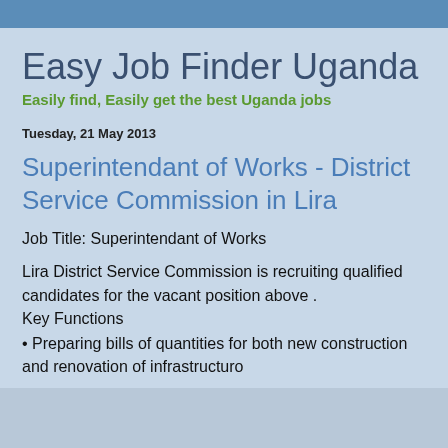Easy Job Finder Uganda
Easily find, Easily get the best Uganda jobs
Tuesday, 21 May 2013
Superintendant of Works - District Service Commission in Lira
Job Title: Superintendant of Works
Lira District Service Commission is recruiting qualified candidates for the vacant position above .
Key Functions
• Preparing bills of quantities for both new construction and renovation of infrastructure